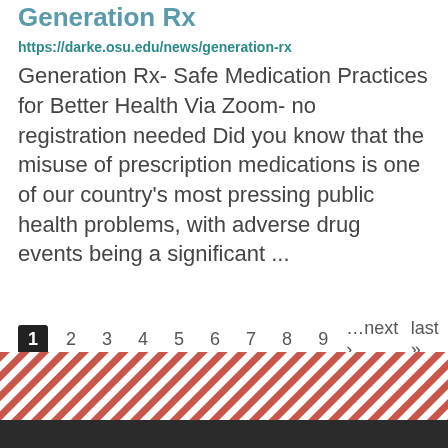Generation Rx
https://darke.osu.edu/news/generation-rx
Generation Rx- Safe Medication Practices for Better Health Via Zoom- no registration needed Did you know that the misuse of prescription medications is one of our country's most pressing public health problems, with adverse drug events being a significant ...
1 2 3 4 5 6 7 8 9 …next › last »